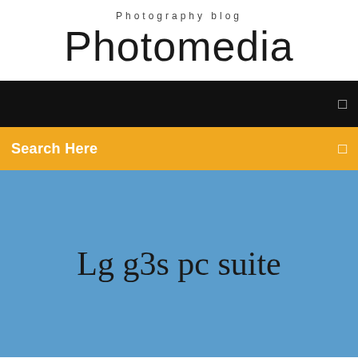Photography blog
Photomedia
[Figure (screenshot): Black navigation bar with a small menu icon on the right side]
Search Here
Lg g3s pc suite